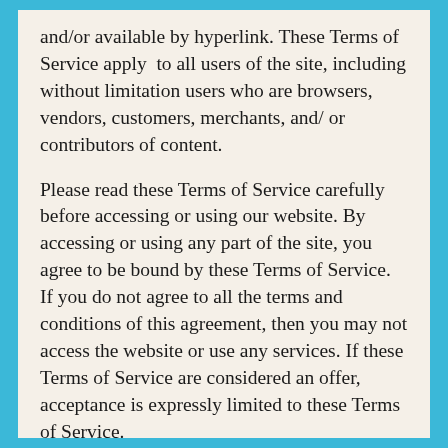and/or available by hyperlink. These Terms of Service apply to all users of the site, including without limitation users who are browsers, vendors, customers, merchants, and/ or contributors of content.
Please read these Terms of Service carefully before accessing or using our website. By accessing or using any part of the site, you agree to be bound by these Terms of Service. If you do not agree to all the terms and conditions of this agreement, then you may not access the website or use any services. If these Terms of Service are considered an offer, acceptance is expressly limited to these Terms of Service.
As soon as features are ready which enable...